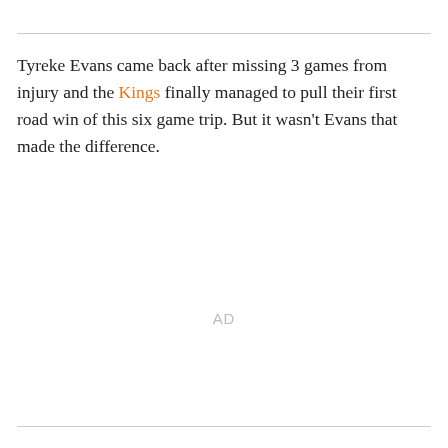Tyreke Evans came back after missing 3 games from injury and the Kings finally managed to pull their first road win of this six game trip. But it wasn't Evans that made the difference.
AD